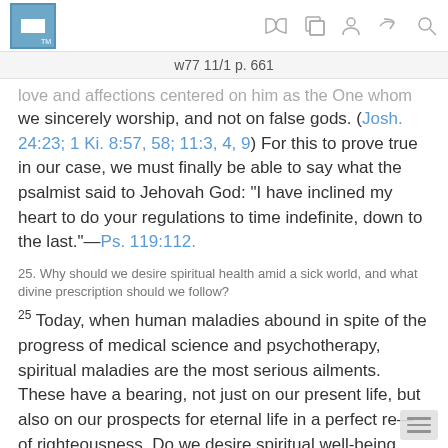w77 11/1 p. 661
love and affections centered on him as the One whom we sincerely worship, and not on false gods. (Josh. 24:23; 1 Ki. 8:57, 58; 11:3, 4, 9) For this to prove true in our case, we must finally be able to say what the psalmist said to Jehovah God: “I have inclined my heart to do your regulations to time indefinite, down to the last.”—Ps. 119:112.
25. Why should we desire spiritual health amid a sick world, and what divine prescription should we follow?
25 Today, when human maladies abound in spite of the progress of medical science and psychotherapy, spiritual maladies are the most serious ailments. These have a bearing, not just on our present life, but also on our prospects for eternal life in a perfect re— of righteousness. Do we desire spiritual well-being